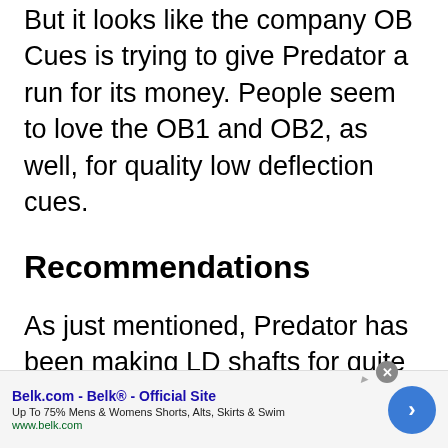But it looks like the company OB Cues is trying to give Predator a run for its money. People seem to love the OB1 and OB2, as well, for quality low deflection cues.
Recommendations
As just mentioned, Predator has been making LD shafts for quite some time now. Thats not to say that other brands arent making quality LD shafts as well, but Predator has a proven track record...
[Figure (other): Advertisement banner: Belk.com - Belk® - Official Site. Up To 75% Mens & Womens Shorts, Alts, Skirts & Swim. www.belk.com. Blue circular arrow button on the right.]